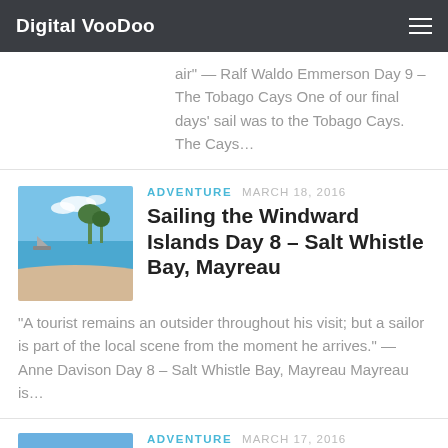Digital VooDoo
air" — Ralf Waldo Emmerson Day 9 – The Tobago Cays One of our final days' sail was to the Tobago Cays. The Cays...
ADVENTURE   MARCH 18, 2016
Sailing the Windward Islands Day 8 – Salt Whistle Bay, Mayreau
"A tourist remains an outsider throughout his visit; but a sailor is part of the local scene from the moment he arrives." — Anne Davison Day 8 – Salt Whistle Bay, Mayreau Mayreau is...
ADVENTURE   MARCH 17, 2016